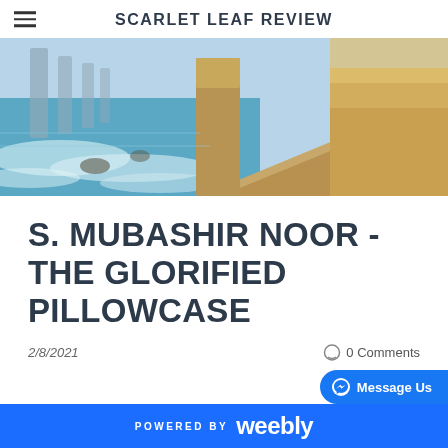SCARLET LEAF REVIEW
[Figure (photo): Coastal landscape with limestone rock stacks rising from turquoise ocean water, sandy beach, and golden cliff faces under a blue sky. Likely the Twelve Apostles, Great Ocean Road, Australia.]
S. MUBASHIR NOOR - THE GLORIFIED PILLOWCASE
2/8/2021
0 Comments
POWERED BY weebly